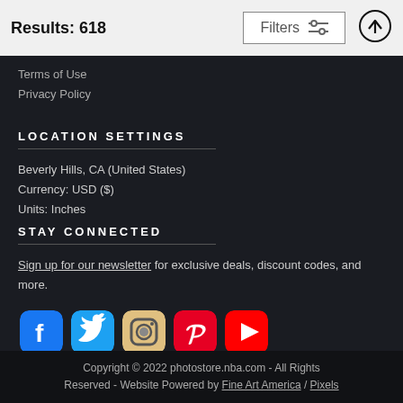Results: 618
Filters
Terms of Use
Privacy Policy
LOCATION SETTINGS
Beverly Hills, CA (United States)
Currency: USD ($)
Units: Inches
STAY CONNECTED
Sign up for our newsletter for exclusive deals, discount codes, and more.
[Figure (illustration): Social media icons: Facebook, Twitter, Instagram, Pinterest, YouTube]
Copyright © 2022 photostore.nba.com - All Rights Reserved - Website Powered by Fine Art America / Pixels